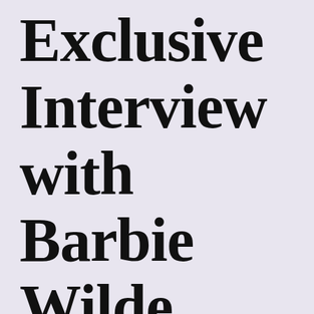Exclusive Interview with Barbie Wilde